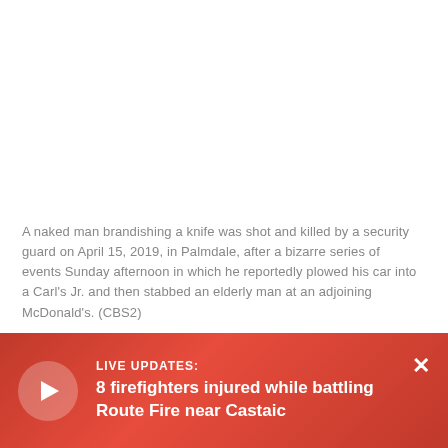A naked man brandishing a knife was shot and killed by a security guard on April 15, 2019, in Palmdale, after a bizarre series of events Sunday afternoon in which he reportedly plowed his car into a Carl's Jr. and then stabbed an elderly man at an adjoining McDonald's. (CBS2)
Witnesses said it all happened so fast.
"I see a man standing right here," witness Irvin Diaz told CBS2. "And all I... came over and saw ... naked, holding his s...
[Figure (screenshot): Live updates banner with red gradient background, play button circle, text 'LIVE UPDATES: 8 firefighters injured while battling Route Fire near Castaic', and a close (X) button]